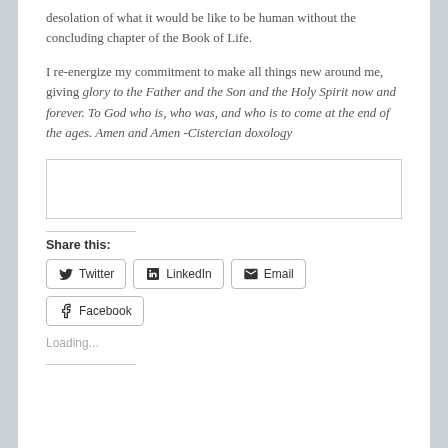desolation of what it would be like to be human without the concluding chapter of the Book of Life.
I re-energize my commitment to make all things new around me, giving glory to the Father and the Son and the Holy Spirit now and forever. To God who is, who was, and who is to come at the end of the ages. Amen and Amen -Cistercian doxology
[Figure (other): Empty text input box]
Share this:
Twitter  LinkedIn  Email  Facebook
Loading...